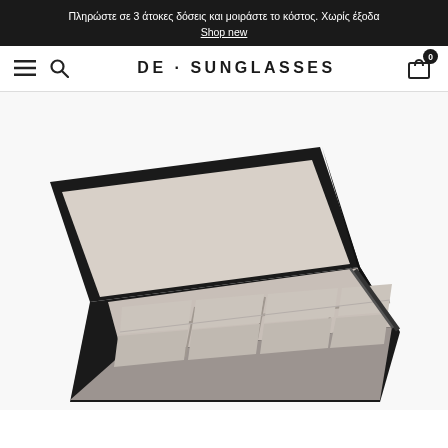Πληρώστε σε 3 άτοκες δόσεις και μοιράστε το κόστος. Χωρίς έξοδα
Shop new
DE · SUNGLASSES
[Figure (photo): Open black sunglasses storage box with grey padded interior divided into 8 compartments, photographed from above at an angle showing the lid open and the organized interior dividers.]